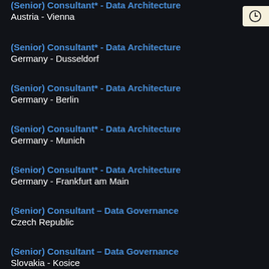(Senior) Consultant* - Data Architecture
Austria - Vienna
(Senior) Consultant* - Data Architecture
Germany - Dusseldorf
(Senior) Consultant* - Data Architecture
Germany - Berlin
(Senior) Consultant* - Data Architecture
Germany - Munich
(Senior) Consultant* - Data Architecture
Germany - Frankfurt am Main
(Senior) Consultant – Data Governance
Czech Republic
(Senior) Consultant – Data Governance
Slovakia - Kosice